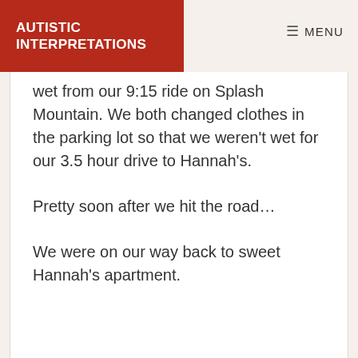AUTISTIC INTERPRETATIONS | MENU
wet from our 9:15 ride on Splash Mountain. We both changed clothes in the parking lot so that we weren't wet for our 3.5 hour drive to Hannah's.
Pretty soon after we hit the road…
We were on our way back to sweet Hannah's apartment.